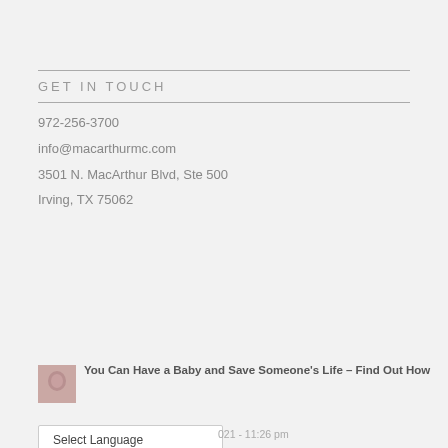GET IN TOUCH
972-256-3700
info@macarthurmc.com
3501 N. MacArthur Blvd, Ste 500
Irving, TX 75062
[Figure (photo): Small thumbnail of a baby]
You Can Have a Baby and Save Someone's Life – Find Out How
021 - 11:26 pm
Select Language
[Figure (photo): Small thumbnail of a person]
Teen Dating Violence Is a Problem, but Texas Governor Vetos Bill to Stop It